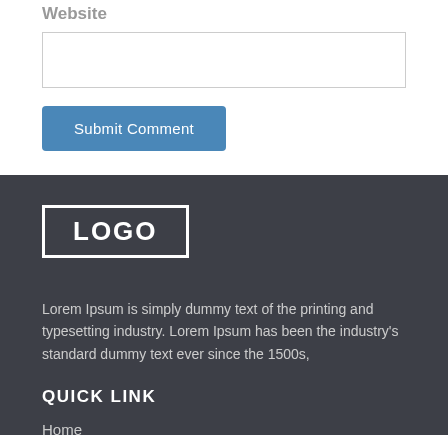Website
Submit Comment
[Figure (logo): LOGO text in white bold letters inside a white rectangular border on dark background]
Lorem Ipsum is simply dummy text of the printing and typesetting industry. Lorem Ipsum has been the industry's standard dummy text ever since the 1500s,
QUICK LINK
Home